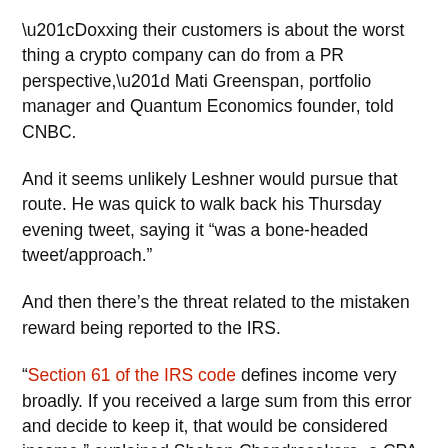“Doxxing their customers is about the worst thing a crypto company can do from a PR perspective,” Mati Greenspan, portfolio manager and Quantum Economics founder, told CNBC.
And it seems unlikely Leshner would pursue that route. He was quick to walk back his Thursday evening tweet, saying it “was a bone-headed tweet/approach.”
And then there’s the threat related to the mistaken reward being reported to the IRS.
“Section 61 of the IRS code defines income very broadly. If you received a large sum from this error and decide to keep it, that would be considered income,” explained Shehan Chandrasekera, a CPA and head of tax strategy at crypto tax software company CoinTracker.io.
Users who were mistakenly awarded extra tokens could voluntarily